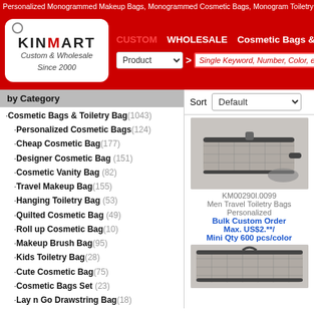Personalized Monogrammed Makeup Bags, Monogrammed Cosmetic Bags, Monogram Toiletry...
[Figure (logo): KinMart logo - Custom & Wholesale Since 2000]
CUSTOM  WHOLESALE  Cosmetic Bags & T...
Product > Single Keyword, Number, Color, etc...
by Category
·Cosmetic Bags & Toiletry Bag (1043)
·Personalized Cosmetic Bags (124)
·Cheap Cosmetic Bag (177)
·Designer Cosmetic Bag (151)
·Cosmetic Vanity Bag (82)
·Travel Makeup Bag (155)
·Hanging Toiletry Bag (53)
·Quilted Cosmetic Bag (49)
·Roll up Cosmetic Bag (10)
·Makeup Brush Bag (95)
·Kids Toiletry Bag (28)
·Cute Cosmetic Bag (75)
·Cosmetic Bags Set (23)
·Lay n Go Drawstring Bag (18)
·Cosmetic Packaging Bag (162)
Sort Default
KM00290I.0099
Men Travel Toiletry Bags Personalized
Bulk Custom Order
Max. US$2.**/
Mini Qty 600 pcs/color
[Figure (photo): Grey plaid men travel toiletry bag product photo]
[Figure (photo): Second product photo showing grey plaid bag from different angle]